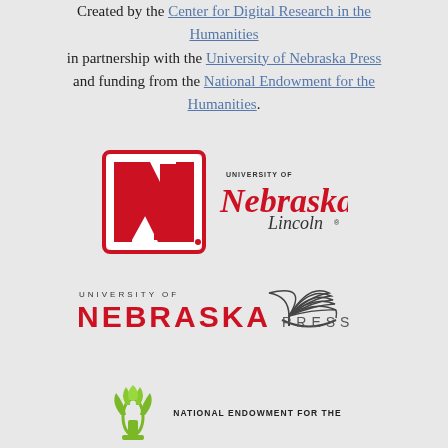Created by the Center for Digital Research in the Humanities in partnership with the University of Nebraska Press and funding from the National Endowment for the Humanities.
[Figure (logo): University of Nebraska-Lincoln logo: red block N with outline border and University of Nebraska Lincoln wordmark in red and dark text]
[Figure (logo): University of Nebraska Press logo: spaced letters UNIVERSITY OF NEBRASKA PRESS with open book illustration]
[Figure (logo): National Endowment for the Humanities logo: stylized green torch/flame and text NATIONAL ENDOWMENT FOR THE]